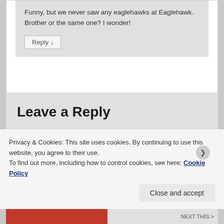Funny, but we never saw any eaglehawks at Eaglehawk.
Brother or the same one? I wonder!
Reply ↓
Leave a Reply
Your email address will not be published. Required fields are marked *
Privacy & Cookies: This site uses cookies. By continuing to use this website, you agree to their use.
To find out more, including how to control cookies, see here: Cookie Policy
Close and accept